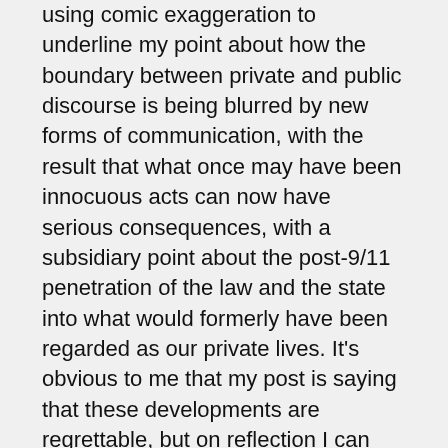using comic exaggeration to underline my point about how the boundary between private and public discourse is being blurred by new forms of communication, with the result that what once may have been innocuous acts can now have serious consequences, with a subsidiary point about the post-9/11 penetration of the law and the state into what would formerly have been regarded as our private lives. It's obvious to me that my post is saying that these developments are regrettable, but on reflection I can see that that subtlety would perhaps not be apparent to everyone. Imagine me reading it in a tone of wistful nostalgia, mourning a lost age of innocence